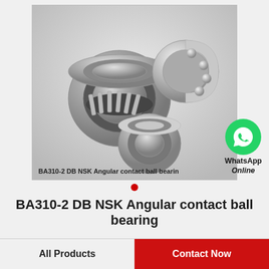[Figure (photo): Photo of BA310-2 DB NSK Angular contact ball bearings — multiple bearing components shown: two tapered roller bearing halves, one angular contact ball bearing (cut-away showing balls), and one small sealed bearing. WhatsApp Online badge overlaid at bottom-right.]
BA310-2 DB NSK Angular contact ball bearing
All Products
Contact Now